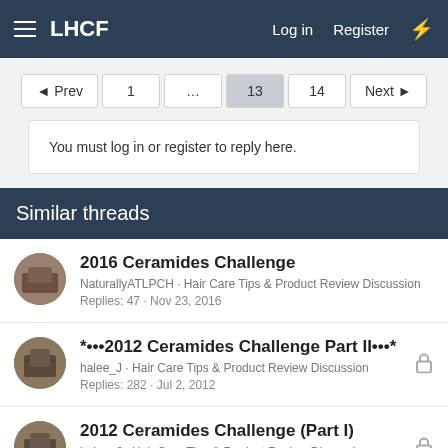LHCF   Log in   Register
◄ Prev  1  …  13  14  Next ►
You must log in or register to reply here.
Similar threads
2016 Ceramides Challenge
NaturallyATLPCH · Hair Care Tips & Product Review Discussion
Replies: 47 · Nov 23, 2016
*•••2012 Ceramides Challenge Part II•••*
halee_J · Hair Care Tips & Product Review Discussion
Replies: 282 · Jul 2, 2012
2012 Ceramides Challenge (Part I)
halee_J · Hair Care Tips & Product Review Discussion
Replies: 361 · Apr 2, 2012